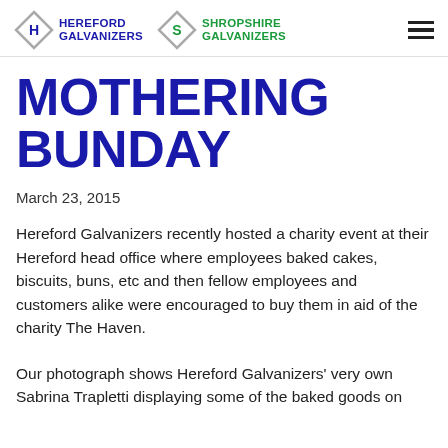HEREFORD GALVANIZERS | SHROPSHIRE GALVANIZERS
MOTHERING BUNDAY
March 23, 2015
Hereford Galvanizers recently hosted a charity event at their Hereford head office where employees baked cakes, biscuits, buns, etc and then fellow employees and customers alike were encouraged to buy them in aid of the charity The Haven.
Our photograph shows Hereford Galvanizers' very own Sabrina Trapletti displaying some of the baked goods on